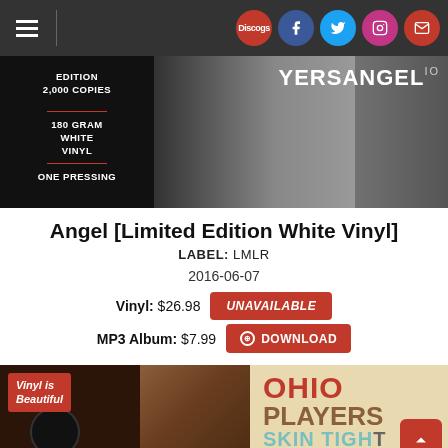Navigation bar with hamburger menu and social icons: Discogs, Facebook, Twitter, Instagram, Email
[Figure (photo): Dark album promotional image with text: EDITION 2,000 COPIES / 180 GRAM WHITE VINYL / ONE PRESSING on left side; OHIO PLAYERS ANGEL text on right side]
Angel [Limited Edition White Vinyl]
LABEL: LMLR
2016-06-07
Vinyl: $26.98  UNAVAILABLE
MP3 Album: $7.99  DOWNLOAD
[Figure (photo): Album cover image: Vinyl is Beautiful badge on left, Ohio Players Skin Tight album artwork with figure and text on right]